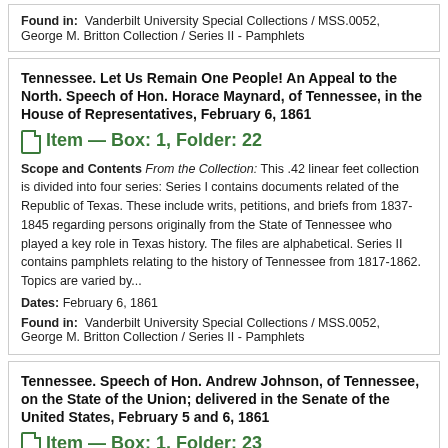Found in: Vanderbilt University Special Collections / MSS.0052, George M. Britton Collection / Series II - Pamphlets
Tennessee. Let Us Remain One People! An Appeal to the North. Speech of Hon. Horace Maynard, of Tennessee, in the House of Representatives, February 6, 1861
Item — Box: 1, Folder: 22
Scope and Contents From the Collection: This .42 linear feet collection is divided into four series: Series I contains documents related of the Republic of Texas. These include writs, petitions, and briefs from 1837-1845 regarding persons originally from the State of Tennessee who played a key role in Texas history. The files are alphabetical. Series II contains pamphlets relating to the history of Tennessee from 1817-1862. Topics are varied by...
Dates: February 6, 1861
Found in: Vanderbilt University Special Collections / MSS.0052, George M. Britton Collection / Series II - Pamphlets
Tennessee. Speech of Hon. Andrew Johnson, of Tennessee, on the State of the Union; delivered in the Senate of the United States, February 5 and 6, 1861
Item — Box: 1, Folder: 23
Scope and Contents From the Collection: This .42 linear feet...